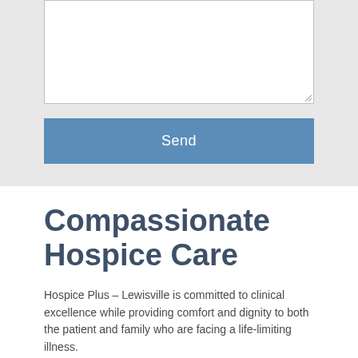[Figure (screenshot): Text area input box with resize handle in bottom-right corner, on a light grey background]
Send
Compassionate Hospice Care
Hospice Plus – Lewisville is committed to clinical excellence while providing comfort and dignity to both the patient and family who are facing a life-limiting illness.
We are here 24/7/365
Individualized Plan of Care Specific to the Patient's